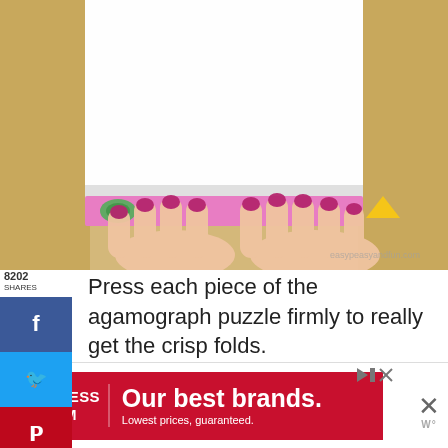[Figure (photo): Hands with magenta/purple nails pressing down on an origami/amagograph puzzle piece. A white folded paper is being pressed against a colorful strip with small shapes, on a wood-colored surface. Watermark 'easypeasyandfun.com' visible in bottom right.]
Press each piece of the agamograph puzzle firmly to really get the crisp folds.
[Figure (infographic): Social media share sidebar with Facebook (f), Twitter (bird), and Pinterest (P) buttons. Share count showing 8202 SHARES.]
[Figure (infographic): Advertisement banner for Mattress Firm: 'Our best brands. Lowest prices, guaranteed.' with red background and close buttons.]